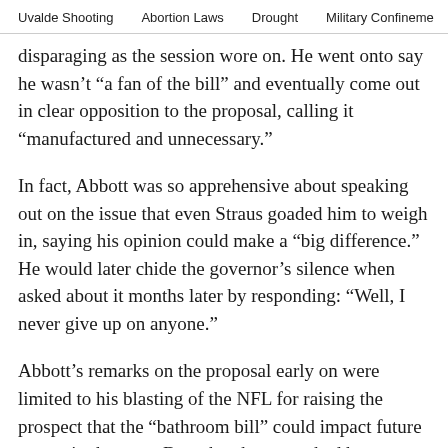Uvalde Shooting    Abortion Laws    Drought    Military Confinement
disparaging as the session wore on. He went onto say he wasn’t “a fan of the bill” and eventually come out in clear opposition to the proposal, calling it “manufactured and unnecessary.”
In fact, Abbott was so apprehensive about speaking out on the issue that even Straus goaded him to weigh in, saying his opinion could make a “big difference.” He would later chide the governor’s silence when asked about it months later by responding: “Well, I never give up on anyone.”
Abbott’s remarks on the proposal early on were limited to his blasting of the NFL for raising the prospect that the “bathroom bill” could impact future events in the state. But when he was asked by reporters if this meant he was supporting SB 6, Abbott demurred.